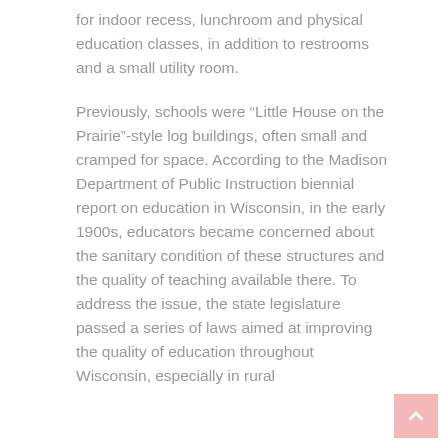for indoor recess, lunchroom and physical education classes, in addition to restrooms and a small utility room.
Previously, schools were “Little House on the Prairie”-style log buildings, often small and cramped for space. According to the Madison Department of Public Instruction biennial report on education in Wisconsin, in the early 1900s, educators became concerned about the sanitary condition of these structures and the quality of teaching available there. To address the issue, the state legislature passed a series of laws aimed at improving the quality of education throughout Wisconsin, especially in rural